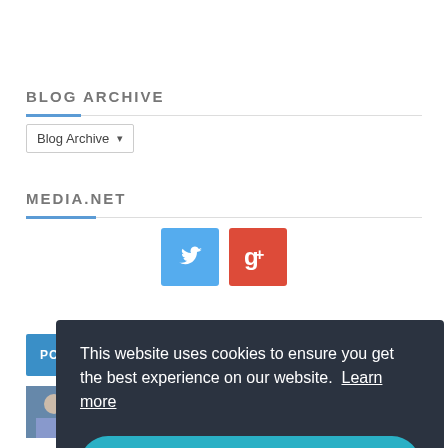BLOG ARCHIVE
[Figure (screenshot): Blog Archive dropdown selector widget]
MEDIA.NET
[Figure (infographic): Social media icons: Twitter (blue) and Google+ (red)]
[Figure (screenshot): Navigation bar with POSTS, BLOG ARCHIVE, and NEWPOSTS tabs]
[Figure (photo): Small thumbnail image of a child]
Paneer Cheela Rolls Recipe
[Figure (screenshot): Cookie consent overlay saying: This website uses cookies to ensure you get the best experience on our website. Learn more. Got it! button.]